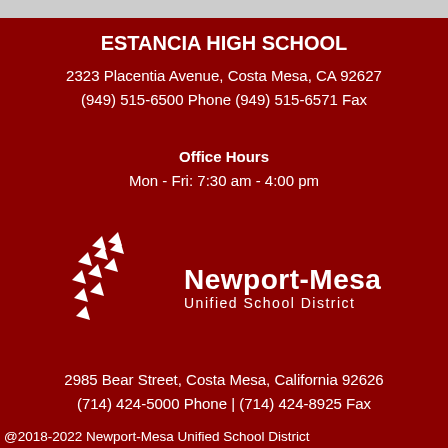ESTANCIA HIGH SCHOOL
2323 Placentia Avenue, Costa Mesa, CA 92627
(949) 515-6500 Phone (949) 515-6571 Fax
Office Hours
Mon - Fri: 7:30 am - 4:00 pm
[Figure (logo): Newport-Mesa Unified School District logo with white starburst/arrow pattern and text 'Newport-Mesa Unified School District']
2985 Bear Street, Costa Mesa, California 92626
(714) 424-5000 Phone | (714) 424-8925 Fax
@2018-2022 Newport-Mesa Unified School District